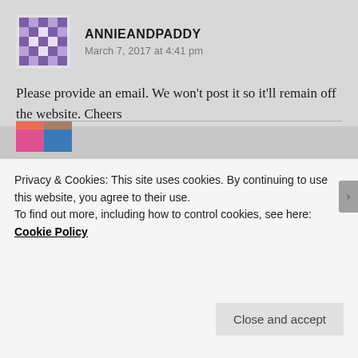ANNIEANDPADDY
March 7, 2017 at 4:41 pm
Please provide an email. We won't post it so it'll remain off the website. Cheers
Like
Reply
Privacy & Cookies: This site uses cookies. By continuing to use this website, you agree to their use.
To find out more, including how to control cookies, see here: Cookie Policy
Close and accept